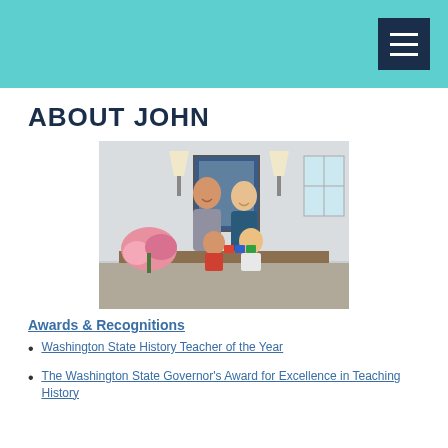ABOUT JOHN
[Figure (photo): Family photo of John with a woman and two children at a kitchen table with flowers]
Awards & Recognitions
Washington State History Teacher of the Year
The Washington State Governor's Award for Excellence in Teaching History